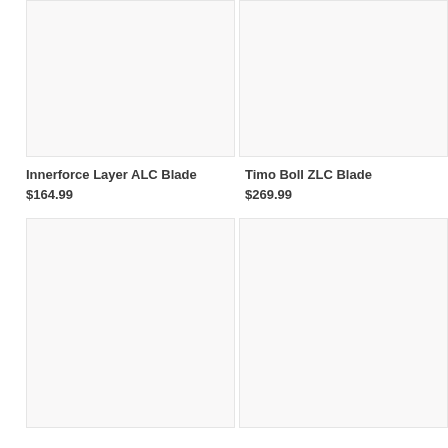[Figure (photo): Product image placeholder for Innerforce Layer ALC Blade - light gray background]
Innerforce Layer ALC Blade
$164.99
[Figure (photo): Product image placeholder for Timo Boll ZLC Blade - light gray background]
Timo Boll ZLC Blade
$269.99
[Figure (photo): Product image placeholder bottom left - light gray background]
[Figure (photo): Product image placeholder bottom right - light gray background]